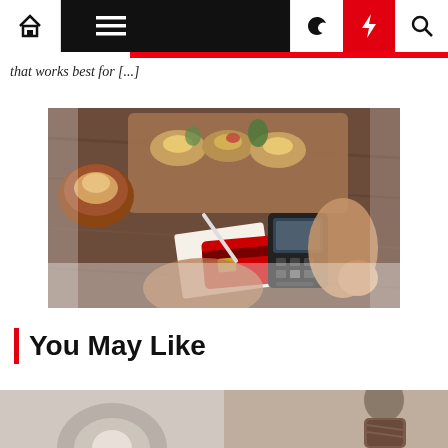Navigation bar with home, menu, moon, bolt, search icons
that works best for [...]
[Figure (photo): Overhead view of a restaurant table with food on wooden boards, a bowl with bread, a person writing on paper and holding a credit card, another person holding a payment terminal/card reader]
You May Like
[Figure (photo): Bottom thumbnail images partially visible — left shows a circular object, right shows a person]